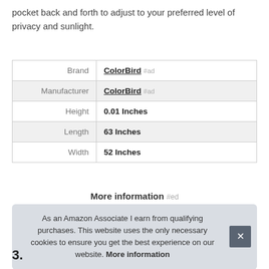pocket back and forth to adjust to your preferred level of privacy and sunlight.
|  |  |
| --- | --- |
| Brand | ColorBird #ad |
| Manufacturer | ColorBird #ad |
| Height | 0.01 Inches |
| Length | 63 Inches |
| Width | 52 Inches |
More information #ed
As an Amazon Associate I earn from qualifying purchases. This website uses the only necessary cookies to ensure you get the best experience on our website. More information
3.